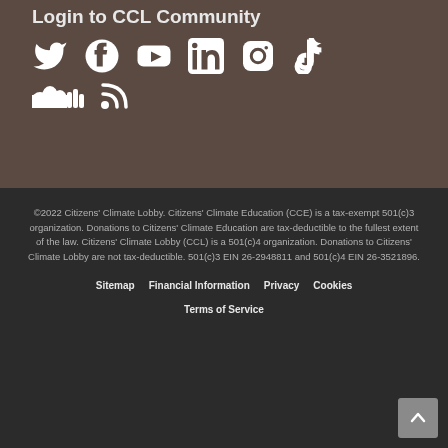Login to CCL Community
[Figure (illustration): Social media icons row 1: Twitter, Facebook, YouTube, LinkedIn, Instagram, TikTok - white icons on brown background]
[Figure (illustration): Social media icons row 2: SoundCloud, RSS - white icons on brown background]
©2022 Citizens' Climate Lobby. Citizens' Climate Education (CCE) is a tax-exempt 501(c)3 organization. Donations to Citizens' Climate Education are tax-deductible to the fullest extent of the law. Citizens' Climate Lobby (CCL) is a 501(c)4 organization. Donations to Citizens' Climate Lobby are not tax-deductible. 501(c)3 EIN 26-2948811 and 501(c)4 EIN 26-3521896.
Sitemap
Financial Information
Privacy
Cookies
Terms of Service